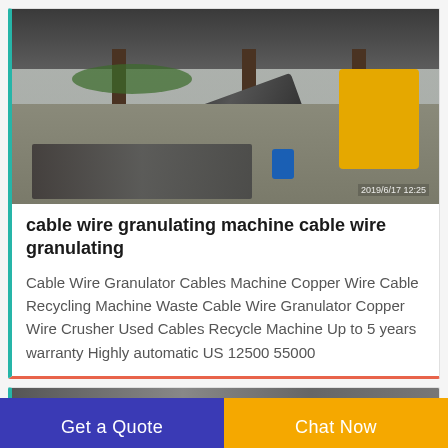[Figure (photo): Outdoor industrial shed with cable wire granulating machinery, conveyors, and equipment. A yellow excavator is visible on the right. Timestamp reads 2019/6/17 12:25 in the bottom-right corner.]
cable wire granulating machine cable wire granulating
Cable Wire Granulator Cables Machine Copper Wire Cable Recycling Machine Waste Cable Wire Granulator Copper Wire Crusher Used Cables Recycle Machine Up to 5 years warranty Highly automatic US 12500 55000
[Figure (photo): Partial view of another industrial machinery photo, cropped at bottom of page.]
Get a Quote
Chat Now